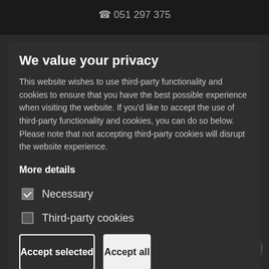[Figure (screenshot): Dark-themed website background with phone number in header bar and ghosted page content visible behind cookie consent modal]
We value your privacy
This website wishes to use third-party functionality and cookies to ensure that you have the best possible experience when visiting the website. If you'd like to accept the use of third-party functionality and cookies, you can do so below. Please note that not accepting third-party cookies will disrupt the website experience.
More details
Necessary
Third-party cookies
Accept selected
Accept all